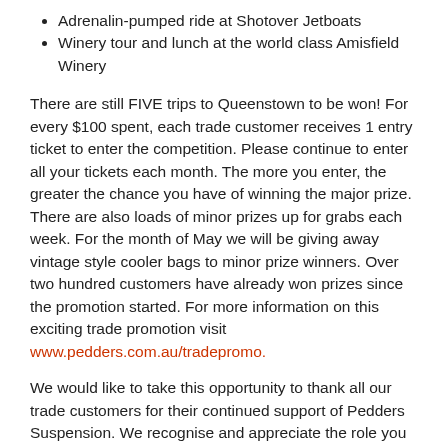Adrenalin-pumped ride at Shotover Jetboats
Winery tour and lunch at the world class Amisfield Winery
There are still FIVE trips to Queenstown to be won! For every $100 spent, each trade customer receives 1 entry ticket to enter the competition. Please continue to enter all your tickets each month. The more you enter, the greater the chance you have of winning the major prize. There are also loads of minor prizes up for grabs each week. For the month of May we will be giving away vintage style cooler bags to minor prize winners. Over two hundred customers have already won prizes since the promotion started. For more information on this exciting trade promotion visit www.pedders.com.au/tradepromo.
We would like to take this opportunity to thank all our trade customers for their continued support of Pedders Suspension. We recognise and appreciate the role you play in the success of your local Pedders store. We are absolutely thrilled that Stephen will be joining us on this